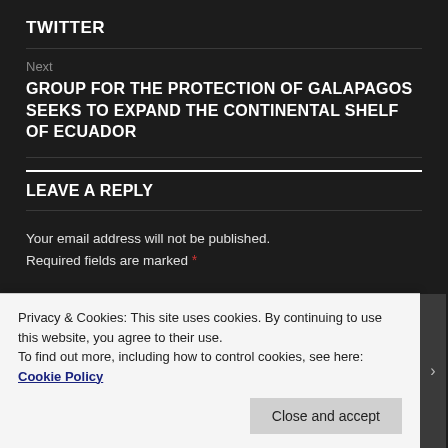TWITTER
Next
GROUP FOR THE PROTECTION OF GALAPAGOS SEEKS TO EXPAND THE CONTINENTAL SHELF OF ECUADOR
LEAVE A REPLY
Your email address will not be published. Required fields are marked *
Privacy & Cookies: This site uses cookies. By continuing to use this website, you agree to their use. To find out more, including how to control cookies, see here: Cookie Policy
Close and accept